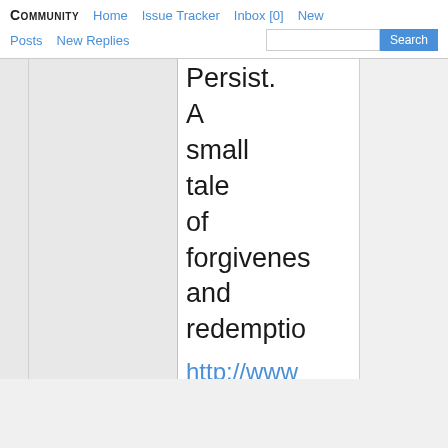Community  Home  Issue Tracker  Inbox [0]  New  Posts  New Replies  Search
Persist. A small tale of forgiveness and redemption
http://www.dare-26/?action=pre
I wanted to bring